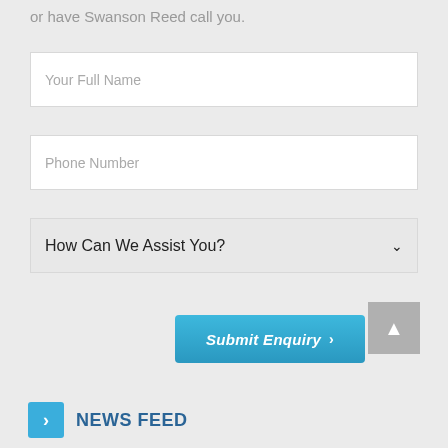or have Swanson Reed call you.
Your Full Name
Phone Number
How Can We Assist You?
Submit Enquiry ›
NEWS FEED